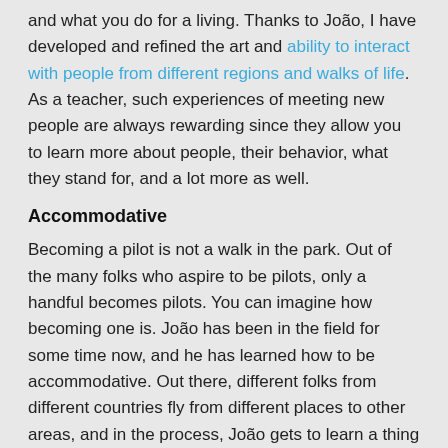and what you do for a living. Thanks to João, I have developed and refined the art and ability to interact with people from different regions and walks of life. As a teacher, such experiences of meeting new people are always rewarding since they allow you to learn more about people, their behavior, what they stand for, and a lot more as well.
Accommodative
Becoming a pilot is not a walk in the park. Out of the many folks who aspire to be pilots, only a handful becomes pilots. You can imagine how becoming one is. João has been in the field for some time now, and he has learned how to be accommodative. Out there, different folks from different countries fly from different places to other areas, and in the process, João gets to learn a thing or two about them, or even at times interact with them when possible. Since different people have different views that do not necessarily have to align with yours, but João is accommodative, which allows him to interact and mingle with various folks from different places and walks of life.